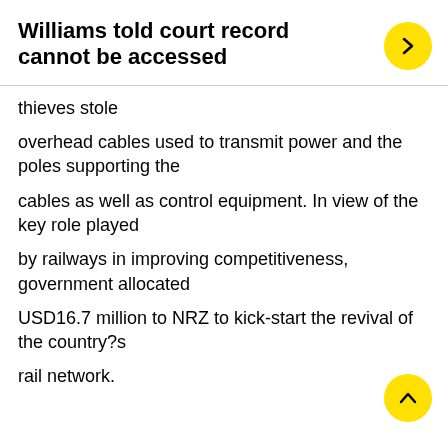Williams told court record cannot be accessed
thieves stole
overhead cables used to transmit power and the poles supporting the
cables as well as control equipment. In view of the key role played
by railways in improving competitiveness, government allocated
USD16.7 million to NRZ to kick-start the revival of the country?s
rail network.